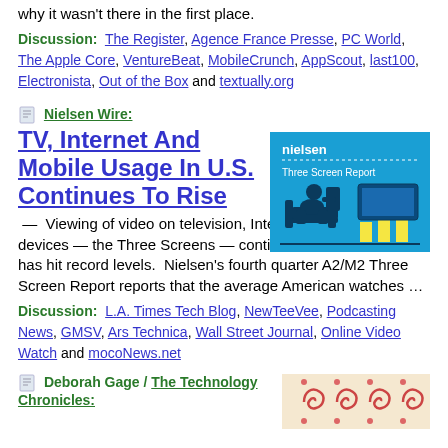why it wasn't there in the first place.
Discussion:  The Register, Agence France Presse, PC World, The Apple Core, VentureBeat, MobileCrunch, AppScout, last100, Electronista, Out of the Box and textually.org
Nielsen Wire:
TV, Internet And Mobile Usage In U.S. Continues To Rise
[Figure (illustration): Nielsen Three Screen Report book/card cover with blue background showing a silhouette of a person sitting in a chair watching a screen, with bar chart elements]
— Viewing of video on television, Internet and mobile devices — the Three Screens — continues to increase and has hit record levels.  Nielsen's fourth quarter A2/M2 Three Screen Report reports that the average American watches …
Discussion:  L.A. Times Tech Blog, NewTeeVee, Podcasting News, GMSV, Ars Technica, Wall Street Journal, Online Video Watch and mocoNews.net
Deborah Gage / The Technology Chronicles:
[Figure (illustration): Decorative image with spiral/swirl patterns in orange/red tones]